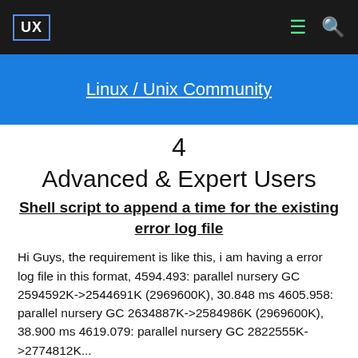UX | Linux / Unix Community
4
Advanced & Expert Users
Shell script to append a time for the existing error log file
Hi Guys, the requirement is like this, i am having a error log file in this format, 4594.493: parallel nursery GC 2594592K->2544691K (2969600K), 30.848 ms 4605.958: parallel nursery GC 2634887K->2584986K (2969600K), 38.900 ms 4619.079: parallel nursery GC 2822555K->2774812K...
Tagged: advanced